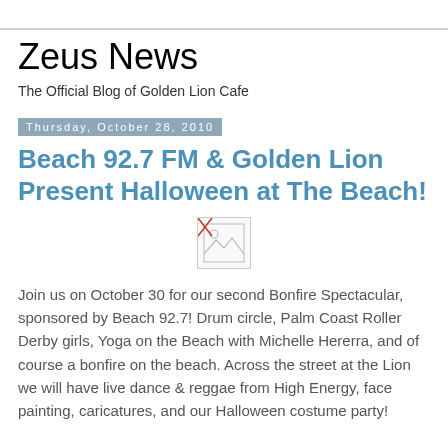Zeus News
The Official Blog of Golden Lion Cafe
Thursday, October 28, 2010
Beach 92.7 FM & Golden Lion Present Halloween at The Beach!
[Figure (other): Broken/missing image placeholder]
Join us on October 30 for our second Bonfire Spectacular, sponsored by Beach 92.7! Drum circle, Palm Coast Roller Derby girls, Yoga on the Beach with Michelle Hererra, and of course a bonfire on the beach. Across the street at the Lion we will have live dance & reggae from High Energy, face painting, caricatures, and our Halloween costume party!